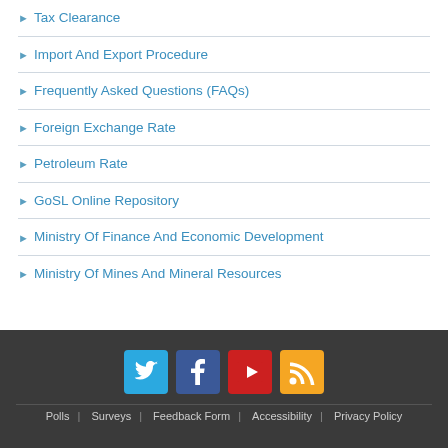Tax Clearance
Import And Export Procedure
Frequently Asked Questions (FAQs)
Foreign Exchange Rate
Petroleum Rate
GoSL Online Repository
Ministry Of Finance And Economic Development
Ministry Of Mines And Mineral Resources
[Figure (infographic): Social media icons: Twitter (blue), Facebook (dark blue), YouTube (red), RSS (orange)]
Polls  Surveys  Feedback Form  Accessibility  Privacy Policy